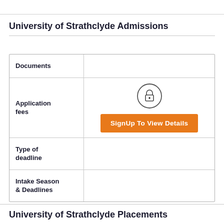University of Strathclyde Admissions
|  |  |
| --- | --- |
| Documents |  |
| Application fees | SignUp To View Details |
| Type of deadline |  |
| Intake Season & Deadlines |  |
University of Strathclyde Placements